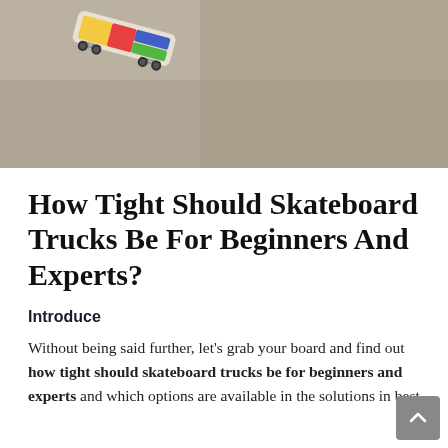[Figure (photo): Photo of a colorful skateboard leaning against a concrete surface, viewed from above at an angle.]
How Tight Should Skateboard Trucks Be For Beginners And Experts?
Introduce
Without being said further, let’s grab your board and find out how tight should skateboard trucks be for beginners and experts and which options are available in the solutions in best...